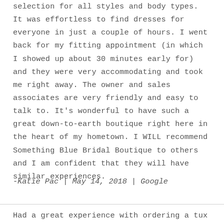selection for all styles and body types. It was effortless to find dresses for everyone in just a couple of hours. I went back for my fitting appointment (in which I showed up about 30 minutes early for) and they were very accommodating and took me right away. The owner and sales associates are very friendly and easy to talk to. It's wonderful to have such a great down-to-earth boutique right here in the heart of my hometown. I WILL recommend Something Blue Bridal Boutique to others and I am confident that they will have similar experiences.
-Katie Pac | May 14, 2018 | Google
Had a great experience with ordering a tux at